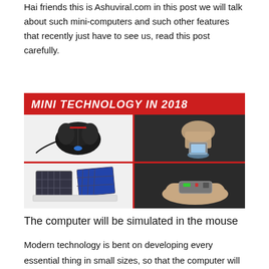Hai friends this is Ashuviral.com in this post we will talk about such mini-computers and such other features that recently just have to see us, read this post carefully.
[Figure (infographic): Infographic titled 'Mini technology in 2018' with a red banner and four image panels: a gaming mouse (top-left), a finger pressing a small device (top-right), a solar panel charger (bottom-left), and a finger-sized device (bottom-right).]
The computer will be simulated in the mouse
Modern technology is bent on developing every essential thing in small sizes, so that the computer will no longer be as small as laptops and Pom top. Now the computers will become even smaller, whose size will be the same as the size of a mouse or keyboard. A team of engineers from Poland has created the mini-